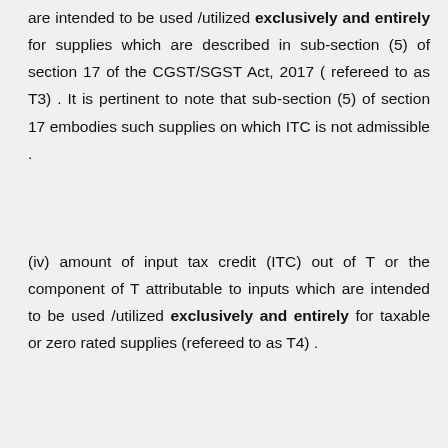are intended to be used /utilized exclusively and entirely for supplies which are described in sub-section (5) of section 17 of the CGST/SGST Act, 2017 ( refereed to as T3) . It is pertinent to note that sub-section (5) of section 17 embodies such supplies on which ITC is not admissible .
(iv) amount of input tax credit (ITC) out of T or the component of T attributable to inputs which are intended to be used /utilized exclusively and entirely for taxable or zero rated supplies (refereed to as T4) .